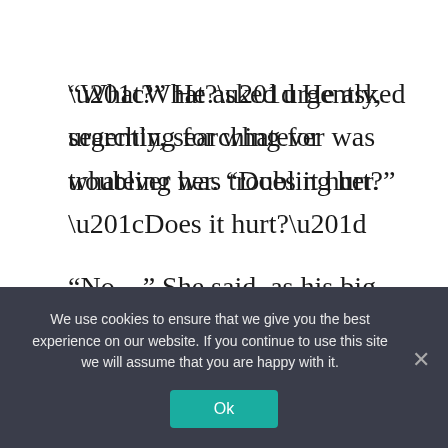“What?” He asked urgently, searching for whatever was troubling her. “Does it hurt?”
“No…” She said, as his big hand rested against her belly. “Something is…moving in my stomach. I thought it was because of that tea…”
Ishakan was calm as he listened, and even opened his mouth as if he wanted to speak, but then shut it again
We use cookies to ensure that we give you the best experience on our website. If you continue to use this site we will assume that you are happy with it.
Ok